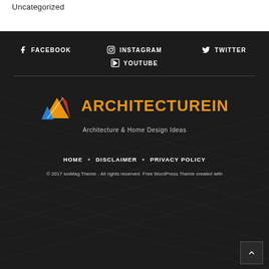Uncategorized
FACEBOOK
INSTAGRAM
TWITTER
YOUTUBE
[Figure (logo): ArchitectureIn logo with triangle icon in blue, red, orange and orange uppercase text ARCHITECTUREIN]
Architecture & Home Design Ideas
HOME
DISCLAIMER
PRIVACY POLICY
© 2017 ionMag Theme - All rights reserved. Free WordPress Theme created with